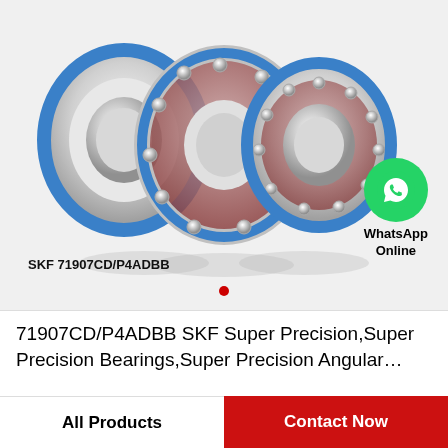[Figure (photo): Three SKF super precision angular contact ball bearings (71907CD/P4ADBB) shown at an angle, with blue seals and silver/chrome rings, steel balls visible between races. A WhatsApp Online badge is overlaid at bottom right.]
SKF 71907CD/P4ADBB
71907CD/P4ADBB SKF Super Precision,Super Precision Bearings,Super Precision Angular…